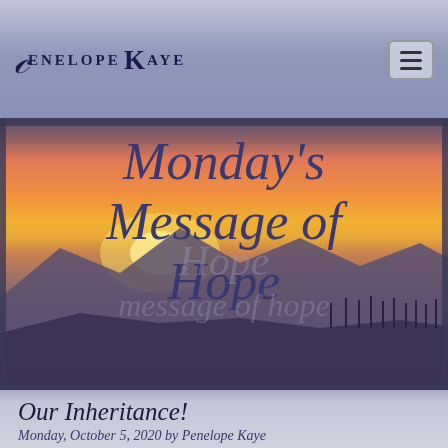Penelope Kaye
[Figure (photo): Hero banner image showing a sunset over mountains with text overlay reading Monday's Message of Hope]
Monday's Message of Hope
Our Inheritance!
Monday, October 5, 2020 by Penelope Kaye
Hello, my dear friend!